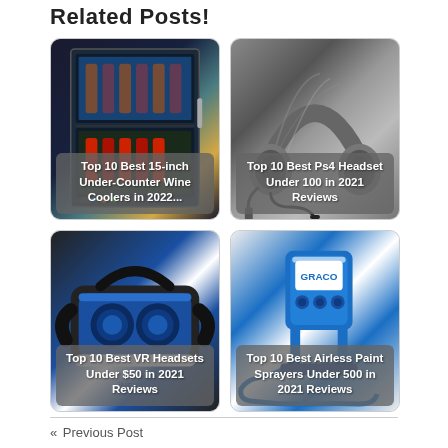Related Posts!
[Figure (photo): Wine cooler refrigerator with bottles inside, stainless steel design]
Top 10 Best 15-inch Under-Counter Wine Coolers in 2022...
[Figure (photo): Gaming headset with marble/chrome design and cable]
Top 10 Best Ps4 Headset Under 100 in 2021 Reviews
[Figure (photo): VR headset in blue and black color]
Top 10 Best VR Headsets Under $50 in 2021 Reviews
[Figure (photo): Blue airless paint sprayer machine]
Top 10 Best Airless Paint Sprayers Under 500 in 2021 Reviews
« Previous Post